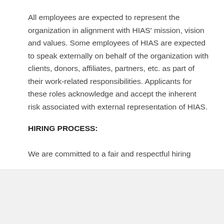All employees are expected to represent the organization in alignment with HIAS' mission, vision and values. Some employees of HIAS are expected to speak externally on behalf of the organization with clients, donors, affiliates, partners, etc. as part of their work-related responsibilities. Applicants for these roles acknowledge and accept the inherent risk associated with external representation of HIAS.
HIRING PROCESS:
We are committed to a fair and respectful hiring
[Figure (other): Send job email icon button with envelope icon and label 'Send job']
[Figure (other): Save job star icon button with star outline icon and label 'Save']